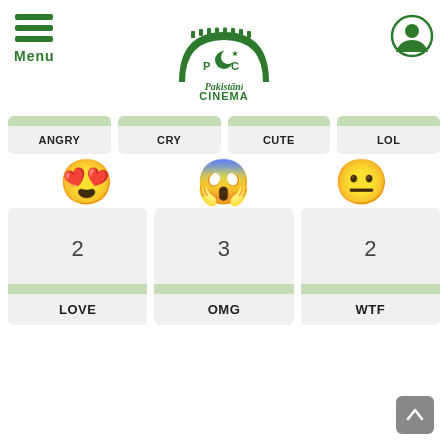[Figure (logo): Pakistani Cinema logo with green arch, film reel, crescent and star, text 'Pakistani Cinema' in green]
[Figure (illustration): Hamburger menu icon with three green horizontal lines and 'Menu' label below]
[Figure (illustration): User/profile icon circle on top right]
ANGRY
CRY
CUTE
LOL
[Figure (illustration): Heart-eyes emoji (love face) with pink hearts as eyes and big smile]
[Figure (illustration): OMG face emoji with wide open eyes and open mouth, shocked expression]
[Figure (illustration): Neutral face emoji with flat mouth and dot eyes]
2
3
2
LOVE
OMG
WTF